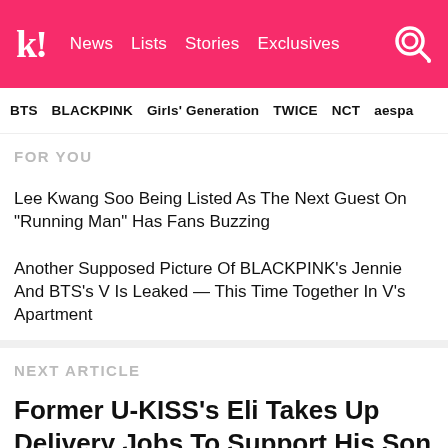k! News  Lists  Stories  Exclusives
BTS   BLACKPINK   Girls' Generation   TWICE   NCT   aespa
FOR YOU
Lee Kwang Soo Being Listed As The Next Guest On "Running Man" Has Fans Buzzing
Another Supposed Picture Of BLACKPINK's Jennie And BTS's V Is Leaked — This Time Together In V's Apartment
NEXT ARTICLE
Former U-KISS's Eli Takes Up Delivery Jobs To Support His Son And Wife